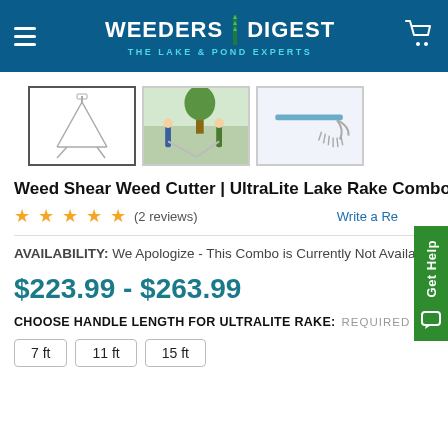WEEDERS DIGEST — THE LAKE & POND EXPERTS
[Figure (photo): Three product thumbnail images of the Weed Shear Weed Cutter and UltraLite Lake Rake Combo: a line drawing on white, two people using the tool outdoors, and a close-up of the rake head.]
Weed Shear Weed Cutter | UltraLite Lake Rake Combo
★★★★★ (2 reviews)   Write a Review
AVAILABILITY: We Apologize - This Combo is Currently Not Available
$223.99 - $263.99
CHOOSE HANDLE LENGTH FOR ULTRALITE RAKE: REQUIRED
7 ft
11 ft
15 ft